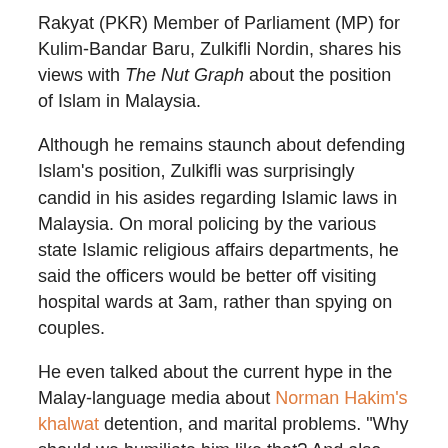Rakyat (PKR) Member of Parliament (MP) for Kulim-Bandar Baru, Zulkifli Nordin, shares his views with The Nut Graph about the position of Islam in Malaysia.
Although he remains staunch about defending Islam's position, Zulkifli was surprisingly candid in his asides regarding Islamic laws in Malaysia. On moral policing by the various state Islamic religious affairs departments, he said the officers would be better off visiting hospital wards at 3am, rather than spying on couples.
He even talked about the current hype in the Malay-language media about Norman Hakim's khalwat detention, and marital problems. "Why should we humiliate him like that? And also the wife and the other woman involved?"